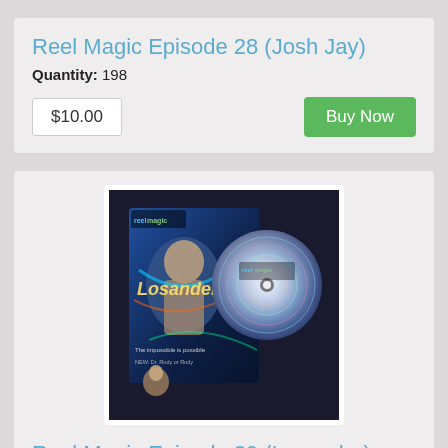Reel Magic Episode 28 (Josh Jay)
Quantity: 198
$10.00
Buy Now
[Figure (photo): DVD case and disc for Reel Magic Episode 29 (Losander), showing a man on the cover with text 'Losander', 'The impossible is possible', and 'reel magic' branding on both the case and disc.]
Reel Magic Episode 29 (Losander)
Quantity: 300